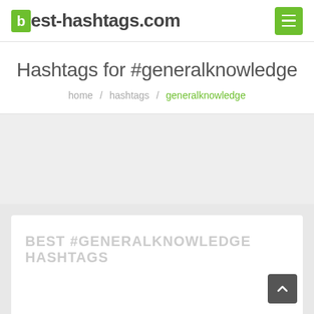best-hashtags.com
Hashtags for #generalknowledge
home / hashtags / generalknowledge
[Figure (other): Gray advertisement/content placeholder area]
BEST #GENERALKNOWLEDGE HASHTAGS